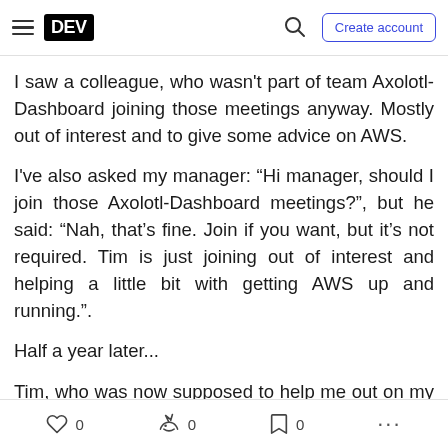DEV | Create account
I saw a colleague, who wasn't part of team Axolotl-Dashboard joining those meetings anyway. Mostly out of interest and to give some advice on AWS.
I've also asked my manager: “Hi manager, should I join those Axolotl-Dashboard meetings?”, but he said: “Nah, that’s fine. Join if you want, but it’s not required. Tim is just joining out of interest and helping a little bit with getting AWS up and running.”.
Half a year later...
Tim, who was now supposed to help me out on my project was now for 80% involved into the Axolotl
0  0  0  ...